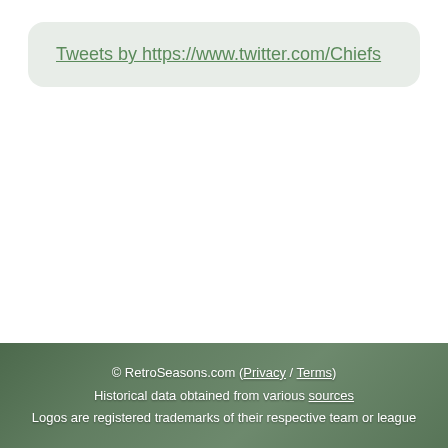Tweets by https://www.twitter.com/Chiefs
© RetroSeasons.com (Privacy / Terms)
Historical data obtained from various sources
Logos are registered trademarks of their respective team or league